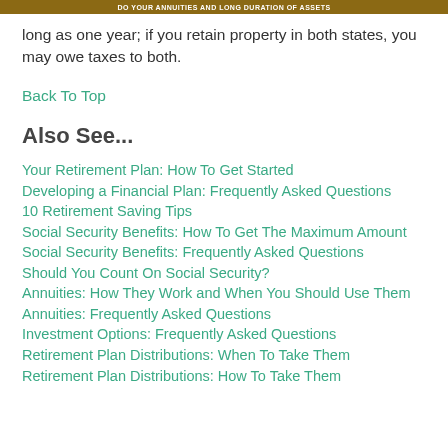DO YOUR ANNUITIES AND Long Duration of ASSETS
long as one year; if you retain property in both states, you may owe taxes to both.
Back To Top
Also See...
Your Retirement Plan: How To Get Started
Developing a Financial Plan: Frequently Asked Questions
10 Retirement Saving Tips
Social Security Benefits: How To Get The Maximum Amount
Social Security Benefits: Frequently Asked Questions
Should You Count On Social Security?
Annuities: How They Work and When You Should Use Them
Annuities: Frequently Asked Questions
Investment Options: Frequently Asked Questions
Retirement Plan Distributions: When To Take Them
Retirement Plan Distributions: How To Take Them